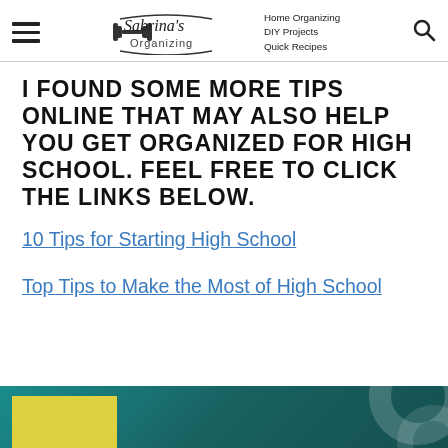Sabrina's Organizing — Home Organizing, DIY Projects, Quick Recipes
I FOUND SOME MORE TIPS ONLINE THAT MAY ALSO HELP YOU GET ORGANIZED FOR HIGH SCHOOL. FEEL FREE TO CLICK THE LINKS BELOW.
10 Tips for Starting High School
Top Tips to Make the Most of High School
[Figure (photo): Bottom portion of an image with teal/green background and a yellow block, partially visible at the bottom of the page]